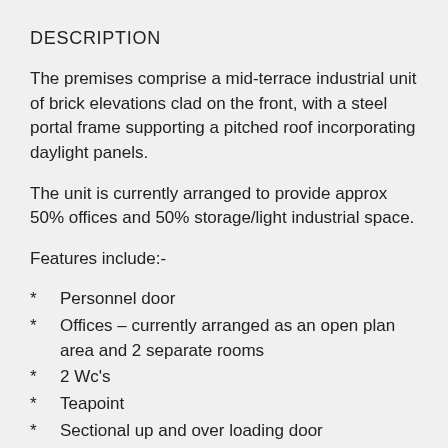DESCRIPTION
The premises comprise a mid-terrace industrial unit of brick elevations clad on the front, with a steel portal frame supporting a pitched roof incorporating daylight panels.
The unit is currently arranged to provide approx 50% offices and 50% storage/light industrial space.
Features include:-
Personnel door
Offices – currently arranged as an open plan area and 2 separate rooms
2 Wc's
Teapoint
Sectional up and over loading door
5 car parking spaces